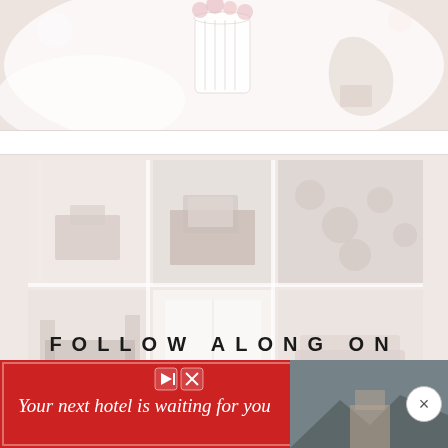[Figure (photo): Top portion of a bedroom/interior lifestyle photo showing soft white bedding and a vase with pink flowers on a nightstand, very light and airy]
[Figure (photo): Grid of 6 interior design / lifestyle Instagram-style photos arranged in 2 rows of 3, showing home office and living space scenes, with 'FOLLOW ALONG ON' text overlay and a vertical line below it]
[Figure (photo): Advertisement banner with red background reading 'Your next hotel is waiting for you' with a hotel photo and media player icons, plus an X close button]